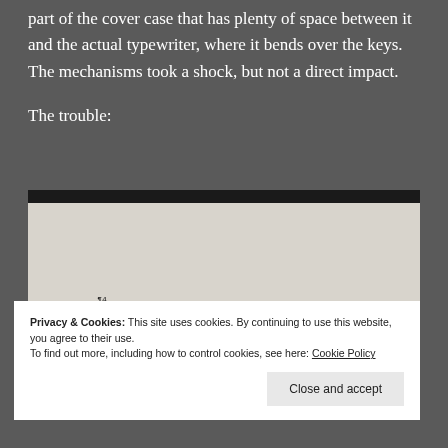part of the cover case that has plenty of space between it and the actual typewriter, where it bends over the keys. The mechanisms took a shock, but not a direct impact.
The trouble:
[Figure (photo): A photograph of a typewritten page showing misaligned text including 'the quick brown fox jumped over the lazy dog. woul' and 'that is   some  fairly  an semi-functional   damage']
Privacy & Cookies: This site uses cookies. By continuing to use this website, you agree to their use.
To find out more, including how to control cookies, see here: Cookie Policy
Close and accept